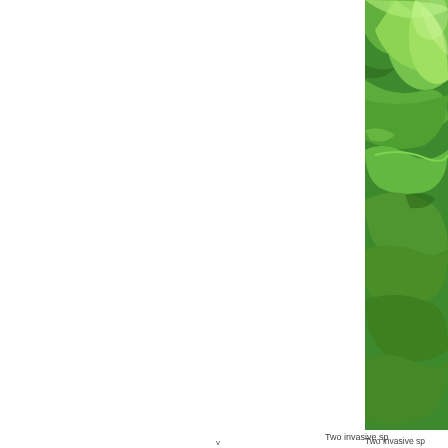[Figure (photo): Close-up photograph of green succulent or agave leaves with wavy, ruffled edges and a water droplet visible. The image is cropped and extends off the right edge of the page, showing only the left portion of what appears to be a wider image.]
Two invasive sp
v